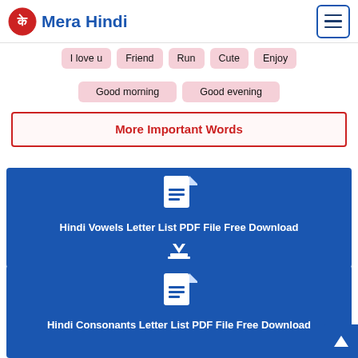MeraHindi
I love u
Friend
Run
Cute
Enjoy
Good morning
Good evening
More Important Words
Hindi Vowels Letter List PDF File Free Download
Hindi Consonants Letter List PDF File Free Download